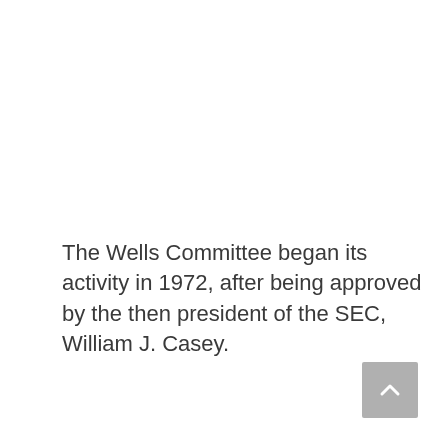The Wells Committee began its activity in 1972, after being approved by the then president of the SEC, William J. Casey.
[Figure (other): Scroll-to-top button with upward-pointing chevron arrow, grey rounded-rectangle background]